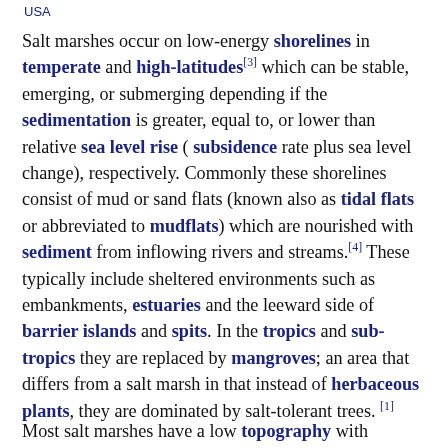USA
Salt marshes occur on low-energy shorelines in temperate and high-latitudes [3] which can be stable, emerging, or submerging depending if the sedimentation is greater, equal to, or lower than relative sea level rise ( subsidence rate plus sea level change), respectively. Commonly these shorelines consist of mud or sand flats (known also as tidal flats or abbreviated to mudflats) which are nourished with sediment from inflowing rivers and streams. [4] These typically include sheltered environments such as embankments, estuaries and the leeward side of barrier islands and spits. In the tropics and sub-tropics they are replaced by mangroves; an area that differs from a salt marsh in that instead of herbaceous plants, they are dominated by salt-tolerant trees. [1]
Most salt marshes have a low topography with